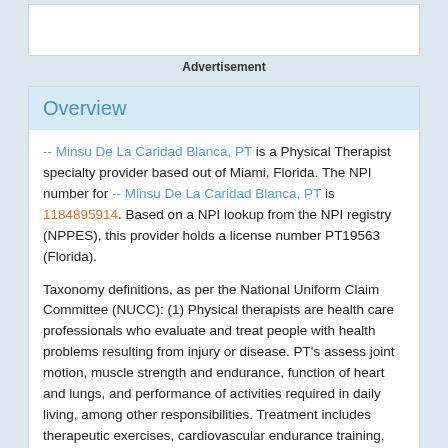[Figure (other): Advertisement banner placeholder (white rectangle)]
Advertisement
Overview
-- Minsu De La Caridad Blanca, PT is a Physical Therapist specialty provider based out of Miami, Florida. The NPI number for -- Minsu De La Caridad Blanca, PT is 1184895914. Based on a NPI lookup from the NPI registry (NPPES), this provider holds a license number PT19563 (Florida).
Taxonomy definitions, as per the National Uniform Claim Committee (NUCC): (1) Physical therapists are health care professionals who evaluate and treat people with health problems resulting from injury or disease. PT's assess joint motion, muscle strength and endurance, function of heart and lungs, and performance of activities required in daily living, among other responsibilities. Treatment includes therapeutic exercises, cardiovascular endurance training, and training in activities of daily living. (2) A physical therapist is a person qualified by an accredited program in physical therapy, licensed by the